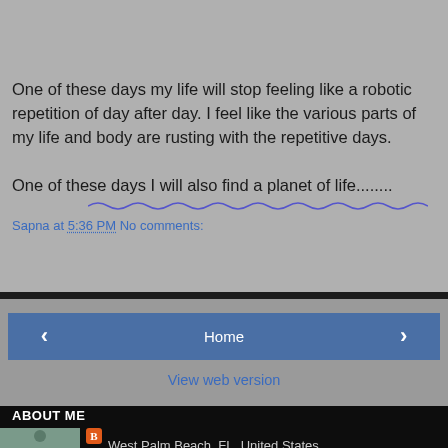One of these days my life will stop feeling like a robotic repetition of day after day. I feel like the various parts of my life and body are rusting with the repetitive days.

One of these days I will also find a planet of life........
Sapna at 5:36 PM   No comments:
[Figure (screenshot): Navigation bar with left arrow button, Home button, and right arrow button]
View web version
ABOUT ME
[Figure (photo): Profile photo of a woman outdoors]
West Palm Beach, FL, United States
View my complete profile